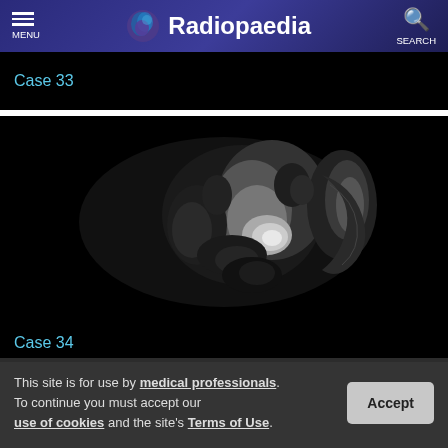Radiopaedia
Case 33
[Figure (photo): MRI scan image showing Case 34 - grayscale medical imaging scan of anatomical structures]
Case 34
This site is for use by medical professionals. To continue you must accept our use of cookies and the site's Terms of Use.